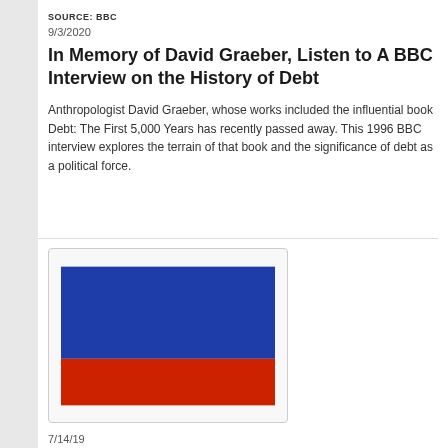SOURCE: BBC
9/3/2020
In Memory of David Graeber, Listen to A BBC Interview on the History of Debt
Anthropologist David Graeber, whose works included the influential book Debt: The First 5,000 Years has recently passed away. This 1996 BBC interview explores the terrain of that book and the significance of debt as a political force.
[Figure (illustration): Russian flag illustration showing blue stripe on top and red stripe on bottom, displayed inside a rounded border box]
7/14/19
American Billionaires' Ties to Moscow Go Back Decades